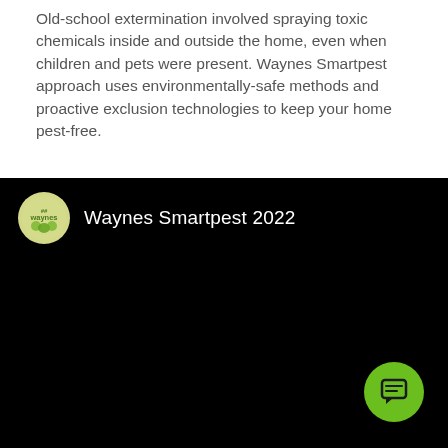Old-school extermination involved spraying toxic chemicals inside and outside the home, even when children and pets were present. Waynes Smartpest approach uses environmentally-safe methods and proactive exclusion technologies to keep your home pest-free.
[Figure (screenshot): A video thumbnail/player with a black background showing the Waynes channel logo (a yellow-green circle with the 'waynes' brand mark) and the text 'Waynes Smartpest 2022' in white. A green circular chat/comment button is visible in the lower right.]